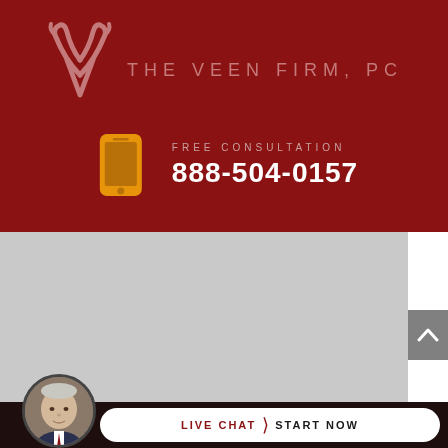[Figure (logo): The Veen Firm PC logo: stylized antler/V shape in muted rose color on dark red background, with text 'THE VEEN FIRM, PC' in spaced light letters]
FREE CONSULTATION
888-504-0157
[Figure (photo): Gray background section (content area placeholder)]
[Figure (photo): Circular avatar photo of an older gentleman in suit at bottom left]
LIVE CHAT › START NOW